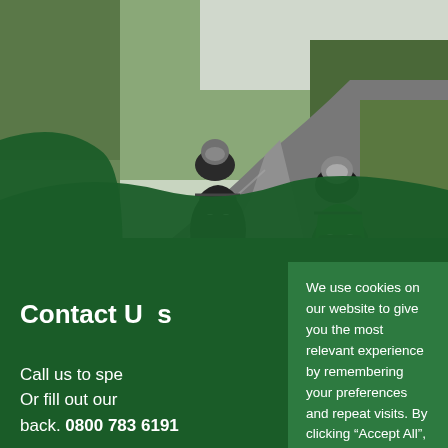[Figure (photo): Two motorcyclists riding on a wet road, surrounded by green trees and hedges. The left rider is on a dark/black touring motorcycle, the right rider is on a green sportbike. Both are wearing helmets and dark riding gear.]
Contact Us
Call us to spe
Or fill out our
back. 0800 783 6191
We use cookies on our website to give you the most relevant experience by remembering your preferences and repeat visits. By clicking “Accept All”, you consent to the use of cookies. Privacy Policy
Accept All